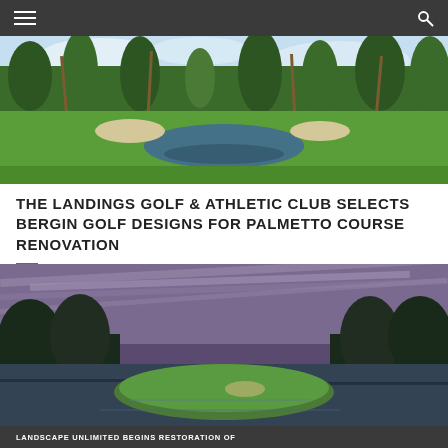Navigation bar with hamburger menu and search icon
[Figure (photo): Aerial view of a golf course with water hazard, sand bunkers, tall pine and palm trees, lush green fairways under a partly cloudy sky]
THE LANDINGS GOLF & ATHLETIC CLUB SELECTS BERGIN GOLF DESIGNS FOR PALMETTO COURSE RENOVATION
FROM STAFF REPORTS, AUGUST 16, 2022
[Figure (photo): Wide panoramic view of a golf course green island surrounded by a dark reflective water hazard, with trees lining the background under a dramatic purple-gray sky]
LANDSCAPE UNLIMITED BEGINS RESTORATION OF